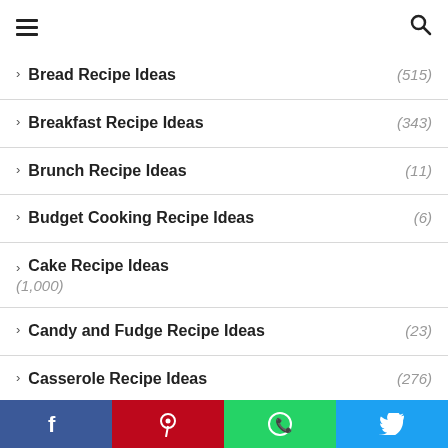Navigation menu with hamburger icon and search icon
Bread Recipe Ideas (515)
Breakfast Recipe Ideas (343)
Brunch Recipe Ideas (11)
Budget Cooking Recipe Ideas (6)
Cake Recipe Ideas (1,000)
Candy and Fudge Recipe Ideas (23)
Casserole Recipe Ideas (276)
Chicken Recipe Ideas (1,116)
Social sharing bar: Facebook, Pinterest, WhatsApp, Twitter